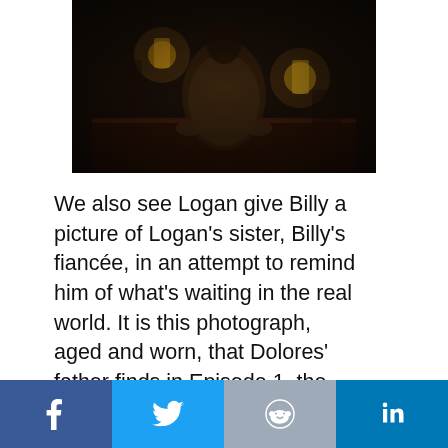[Figure (photo): Dark moody scene with a person in old-fashioned clothing seated at a table, two lanterns visible in the dim background, western/period setting]
We also see Logan give Billy a picture of Logan's sister, Billy's fiancée, in an attempt to remind him of what's waiting in the real world. It is this photograph, aged and worn, that Dolores' father finds in Episode 1, the modern urban scenery in it triggering his existential crisis and mental collapse. It's the first
[Figure (infographic): Social media sharing bar with four buttons: Facebook (dark blue), Twitter (light blue), Reddit (gray-blue), LinkedIn (blue)]